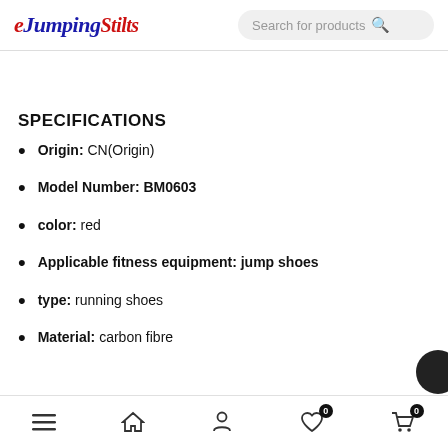eJumping Stilts — Search for products
SPECIFICATIONS
Origin: CN(Origin)
Model Number: BM0603
color: red
Applicable fitness equipment: jump shoes
type: running shoes
Material: carbon fibre
Navigation bar: menu, home, account, wishlist (0), cart (0)